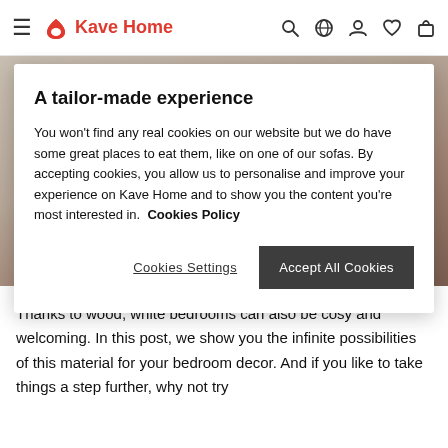Kave Home
A tailor-made experience
You won't find any real cookies on our website but we do have some great places to eat them, like on one of our sofas. By accepting cookies, you allow us to personalise and improve your experience on Kave Home and to show you the content you're most interested in.  Cookies Policy
Cookies Settings
Accept All Cookies
[Figure (photo): Background image of a bedroom with wooden furniture and white/beige linens, partially visible behind cookie consent modal]
Written by: Judit Navarro
Thanks to wood, white bedrooms can also be cosy and welcoming. In this post, we show you the infinite possibilities of this material for your bedroom decor. And if you like to take things a step further, why not try